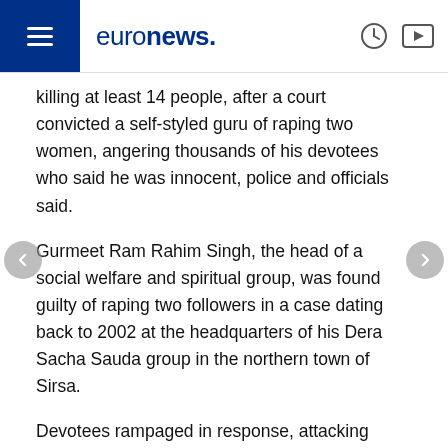euronews.
killing at least 14 people, after a court convicted a self-styled guru of raping two women, angering thousands of his devotees who said he was innocent, police and officials said.
Gurmeet Ram Rahim Singh, the head of a social welfare and spiritual group, was found guilty of raping two followers in a case dating back to 2002 at the headquarters of his Dera Sacha Sauda group in the northern town of Sirsa.
Devotees rampaged in response, attacking railway stations, petrol stations and television vans in towns across the northern states of Punjab and Haryana, witnesses said.
At least 14 people were killed, most of them in Panchkula town where the court returned its verdict